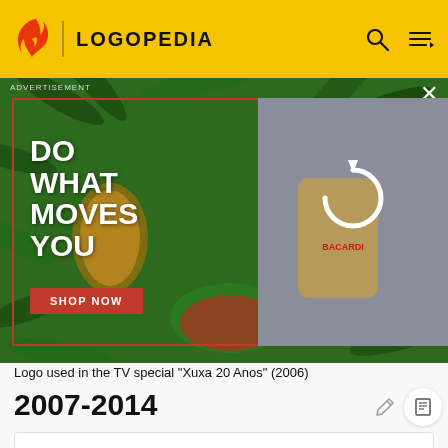LOGOPEDIA
[Figure (photo): Bacardi advertisement banner over tropical green background showing fruits (pineapple, papaya, watermelon), a Bacardi rum bottle, text 'DO WHAT MOVES YOU' and a 'SHOP NOW' button. A secondary panel shows Bacardi branding with a loading/refresh icon.]
Logo used in the TV special "Xuxa 20 Anos" (2006)
2007-2014
[Figure (logo): Red abstract 3D sculptural logo mark for Xuxa, 2007-2014 era, showing angular red ribbon-like forms.]